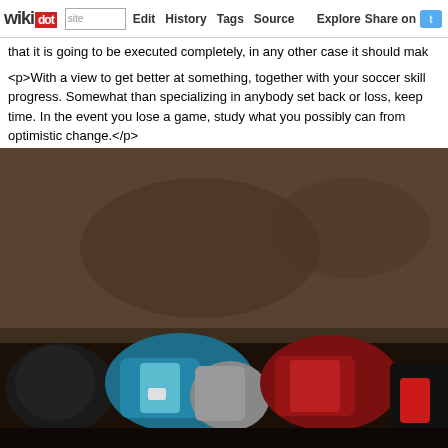wikidot | site | Edit | History | Tags | Source | Explore | Share on Twitter
that it is going to be executed completely, in any other case it should mak
<p>With a view to get better at something, together with your soccer skill progress. Somewhat than specializing in anybody set back or loss, keep time. In the event you lose a game, study what you possibly can from optimistic change.</p>
[Figure (photo): Photo showing colorful backpacks or sports gear bags piled on a shelf in a dark room, with red, blue and grey colors visible.]